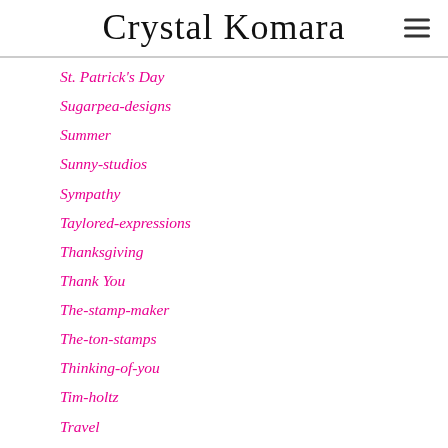Crystal Komara
St. Patrick's Day
Sugarpea-designs
Summer
Sunny-studios
Sympathy
Taylored-expressions
Thanksgiving
Thank You
The-stamp-maker
The-ton-stamps
Thinking-of-you
Tim-holtz
Travel
Treat Holder
Trinity-stamps
Tropical
Twinklelane Designs